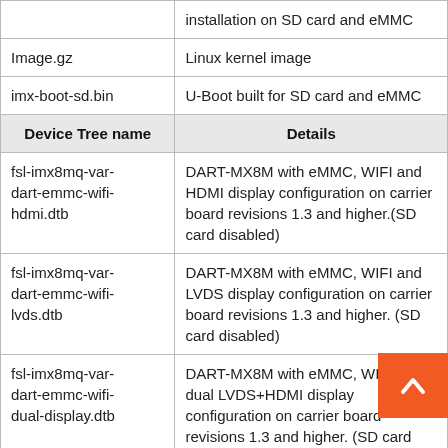| Device Tree name | Details |
| --- | --- |
|  | installation on SD card and eMMC |
| Image.gz | Linux kernel image |
| imx-boot-sd.bin | U-Boot built for SD card and eMMC |
| Device Tree name | Details |
| fsl-imx8mq-var-dart-emmc-wifi-hdmi.dtb | DART-MX8M with eMMC, WIFI and HDMI display configuration on carrier board revisions 1.3 and higher.(SD card disabled) |
| fsl-imx8mq-var-dart-emmc-wifi-lvds.dtb | DART-MX8M with eMMC, WIFI and LVDS display configuration on carrier board revisions 1.3 and higher. (SD card disabled) |
| fsl-imx8mq-var-dart-emmc-wifi-dual-display.dtb | DART-MX8M with eMMC, WIFI and dual LVDS+HDMI display configuration on carrier board revisions 1.3 and higher. (SD card disabled) |